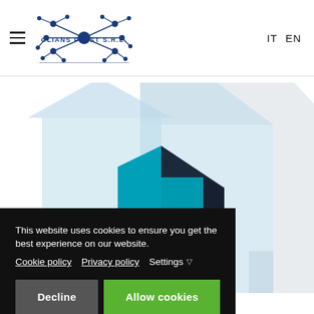OLIANS PLAST S.R.L. — IT EN
[Figure (illustration): Stylized building/house illustration with light blue and grey geometric shapes forming a warehouse or industrial building outline, with a teal and dark navy foreground architectural element (stylized letter N or building facade).]
This website uses cookies to ensure you get the best experience on our website. Cookie policy  Privacy policy  Settings
Decline
Allow cookies